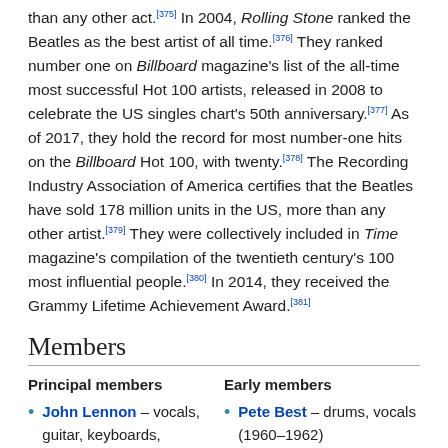than any other act.[375] In 2004, Rolling Stone ranked the Beatles as the best artist of all time.[376] They ranked number one on Billboard magazine's list of the all-time most successful Hot 100 artists, released in 2008 to celebrate the US singles chart's 50th anniversary.[377] As of 2017, they hold the record for most number-one hits on the Billboard Hot 100, with twenty.[378] The Recording Industry Association of America certifies that the Beatles have sold 178 million units in the US, more than any other artist.[379] They were collectively included in Time magazine's compilation of the twentieth century's 100 most influential people.[380] In 2014, they received the Grammy Lifetime Achievement Award.[381]
Members
Principal members
Early members
John Lennon – vocals, guitar, keyboards,
Pete Best – drums, vocals (1960–1962)